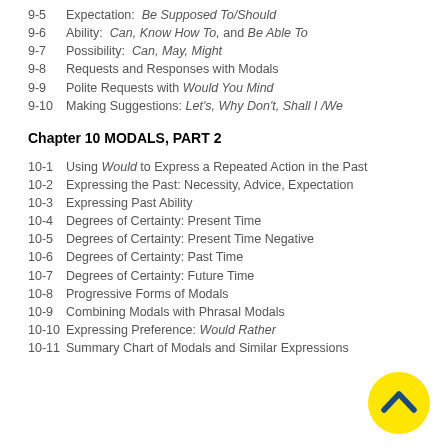9-5  Expectation: Be Supposed To/Should
9-6  Ability: Can, Know How To, and Be Able To
9-7  Possibility: Can, May, Might
9-8  Requests and Responses with Modals
9-9  Polite Requests with Would You Mind
9-10  Making Suggestions: Let's, Why Don't, Shall I/We
Chapter 10 MODALS, PART 2
10-1  Using Would to Express a Repeated Action in the Past
10-2  Expressing the Past: Necessity, Advice, Expectation
10-3  Expressing Past Ability
10-4  Degrees of Certainty: Present Time
10-5  Degrees of Certainty: Present Time Negative
10-6  Degrees of Certainty: Past Time
10-7  Degrees of Certainty: Future Time
10-8  Progressive Forms of Modals
10-9  Combining Modals with Phrasal Modals
10-10  Expressing Preference: Would Rather
10-11  Summary Chart of Modals and Similar Expressions
[Figure (illustration): Yellow circular navigation button with a dark blue upward chevron arrow]